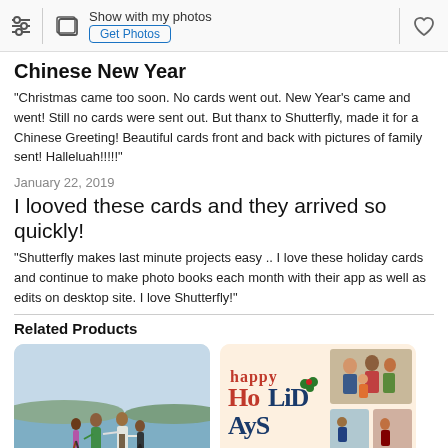Show with my photos | Get Photos
Chinese New Year
"Christmas came too soon. No cards went out. New Year's came and went! Still no cards were sent out. But thanx to Shutterfly, made it for a Chinese Greeting! Beautiful cards front and back with pictures of family sent! Halleluah!!!!!"
January 22, 2019
I looved these cards and they arrived so quickly!
"Shutterfly makes last minute projects easy .. I love these holiday cards and continue to make photo books each month with their app as well as edits on desktop site. I love Shutterfly!"
Related Products
[Figure (photo): Family of four walking on a beach/waterfront, woman in green dress]
[Figure (photo): Happy Holidays greeting card with family photo collage]